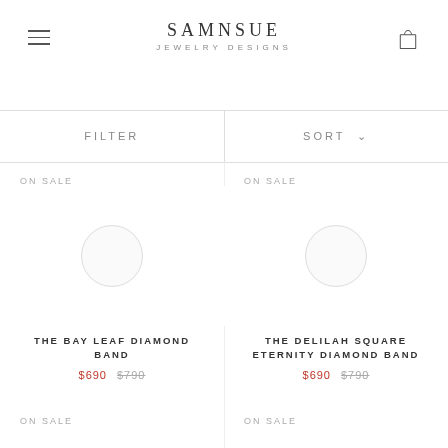SAMNSUE JEWELRY DESIGNS
FILTER
SORT
ON SALE
[Figure (photo): Product image placeholder for The Bay Leaf Diamond Band ring]
THE BAY LEAF DIAMOND BAND $690 $790
ON SALE
[Figure (photo): Product image placeholder for The Delilah Square Eternity Diamond Band ring]
THE DELILAH SQUARE ETERNITY DIAMOND BAND $690 $790
ON SALE
ON SALE